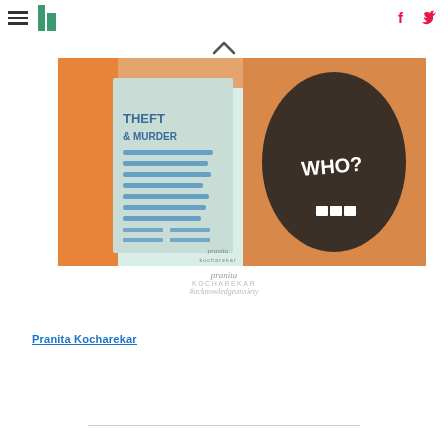HuffPost navigation with hamburger menu, logo, Facebook and Twitter icons
[Figure (illustration): Two-panel illustration: left panel shows a newspaper/document with 'THEFT & MURDER' text in blue with horizontal blue lines below; right panel shows an open mouth/face with 'WHO?' written in white on a dark background, surrounded by orange/brown colors. Watermark: 'pranita kocharekar' and '#acknowledgeanxiety']
Pranita Kocharekar